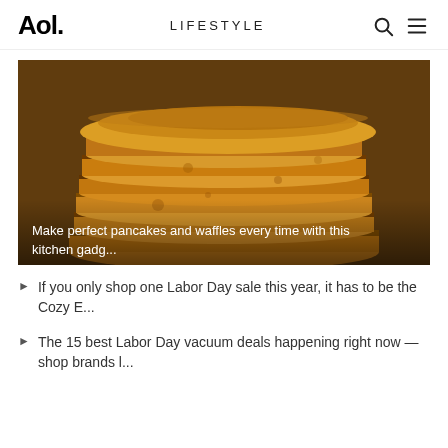Aol. LIFESTYLE
[Figure (photo): Close-up photo of a tall stack of golden-brown pancakes with a text overlay reading: Make perfect pancakes and waffles every time with this kitchen gadg...]
If you only shop one Labor Day sale this year, it has to be the Cozy E...
The 15 best Labor Day vacuum deals happening right now — shop brands l...